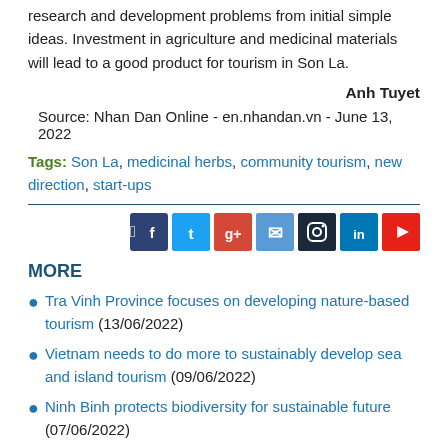research and development problems from initial simple ideas. Investment in agriculture and medicinal materials will lead to a good product for tourism in Son La.
Anh Tuyet
Source: Nhan Dan Online - en.nhandan.vn - June 13, 2022
Tags: Son La, medicinal herbs, community tourism, new direction, start-ups
[Figure (other): Social media sharing buttons: Facebook, Twitter, Google+, Email, Instagram, LinkedIn, YouTube]
MORE
Tra Vinh Province focuses on developing nature-based tourism (13/06/2022)
Vietnam needs to do more to sustainably develop sea and island tourism (09/06/2022)
Ninh Binh protects biodiversity for sustainable future (07/06/2022)
Luscious lychees a big draw for Bac Giang tourists (03/06/2022)